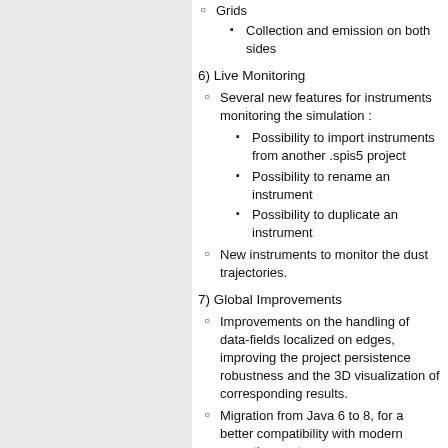Grids
Collection and emission on both sides
6) Live Monitoring
Several new features for instruments monitoring the simulation :
Possibility to import instruments from another .spis5 project
Possibility to rename an instrument
Possibility to duplicate an instrument
New instruments to monitor the dust trajectories.
7) Global Improvements
Improvements on the handling of data-fields localized on edges, improving the project persistence robustness and the 3D visualization of corresponding results.
Migration from Java 6 to 8, for a better compatibility with modern operating systems
Global ergonomy improvements.
Global stability improvements.
Fix an issue with the headless mode